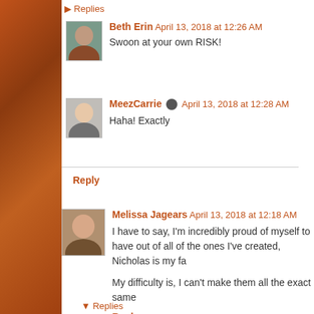Replies
Beth Erin  April 13, 2018 at 12:26 AM
Swoon at your own RISK!
MeezCarrie  April 13, 2018 at 12:28 AM
Haha! Exactly
Reply
Melissa Jagears  April 13, 2018 at 12:18 AM
I have to say, I'm incredibly proud of myself to have out of all of the ones I've created, Nicholas is my fa...
My difficulty is, I can't make them all the exact same
Reply
Replies